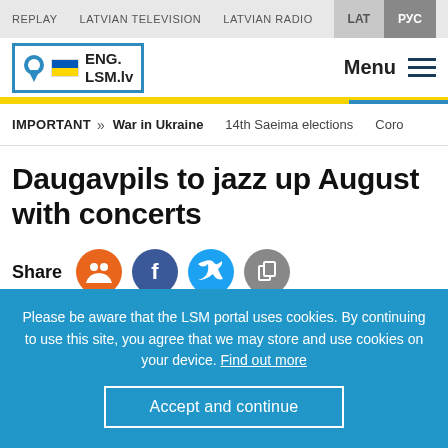REPLAY   LATVIAN TELEVISION   LATVIAN RADIO   LAT   РУС
[Figure (logo): ENG.LSM.lv logo with Ukrainian flag colors and location pin icon]
Menu
IMPORTANT >> War in Ukraine   14th Saeima elections   Coro...
Daugavpils to jazz up August with concerts
Share
[Figure (infographic): Share buttons: Draugiem (orange), Facebook (blue), Twitter (light blue), Copy (gray)]
Photo: LTV
Please be aware that the LSM portal uses cookies. By continuing to use this site, you agree that we may store and use cookies on your device. Find out more
Accept and continue